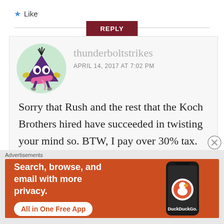★ Like
REPLY
thunderboltstrikes
APRIL 14, 2017 AT 7:02 PM
Sorry that Rush and the rest that the Koch Brothers hired have succeeded in twisting your mind so. BTW, I pay over 30% tax. Mitt Romney pays
[Figure (screenshot): DuckDuckGo advertisement banner: 'Search, browse, and email with more privacy. All in One Free App' with DuckDuckGo logo and phone image on orange background]